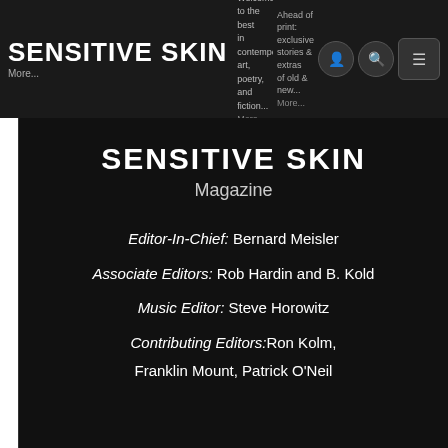Sensitive Skin — Magazine navigation header with logo, nav text, and icons
Sensitive Skin
Magazine
Editor-In-Chief: Bernard Meisler
Associate Editors: Rob Hardin and B. Kold
Music Editor: Steve Horowitz
Contributing Editors:Ron Kolm, Franklin Mount, Patrick O'Neil
Contact
For general inquiry: